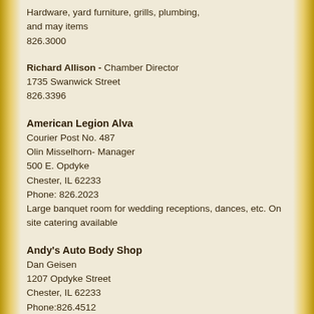Hardware, yard furniture, grills, plumbing, and may items
826.3000
Richard Allison - Chamber Director
1735 Swanwick Street
826.3396
American Legion Alva
Courier Post No. 487
Olin Misselhorn- Manager
500 E. Opdyke
Chester, IL 62233
Phone: 826.2023
Large banquet room for wedding receptions, dances, etc. On site catering available
Andy's Auto Body Shop
Dan Geisen
1207 Opdyke Street
Chester, IL 62233
Phone:826.4512
Fax:826.4513